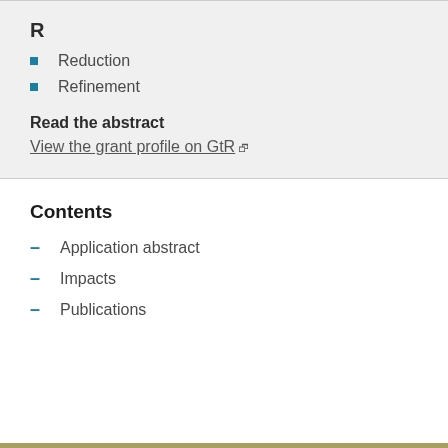R
Reduction
Refinement
Read the abstract
View the grant profile on GtR
Contents
Application abstract
Impacts
Publications